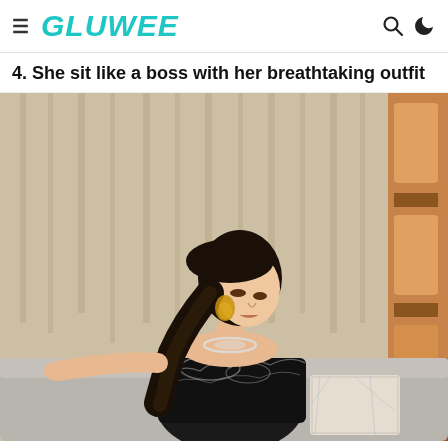GLUWEE
4. She sit like a boss with her breathtaking outfit
[Figure (photo): A young Asian woman in a black strapless embroidered dress sitting against a sofa, with long dark ponytail hair, gold earrings, and a necklace. Background shows beige curtains and a warmly lit room on the right.]